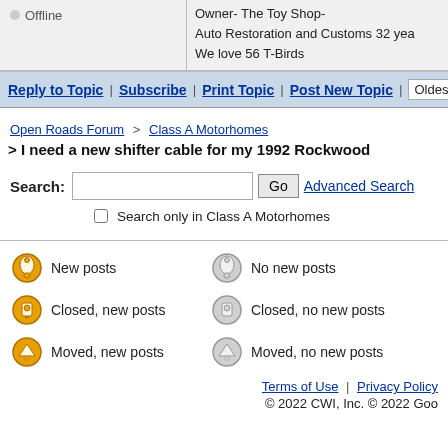Offline
Owner- The Toy Shop- Auto Restoration and Customs 32 yea We love 56 T-Birds
Reply to Topic | Subscribe | Print Topic | Post New Topic | Oldest
Open Roads Forum > Class A Motorhomes
> I need a new shifter cable for my 1992 Rockwood
Search: [input] Go Advanced Search Search only in Class A Motorhomes
New posts | No new posts | Closed, new posts | Closed, no new posts | Moved, new posts | Moved, no new posts
Terms of Use | Privacy Policy
© 2022 CWI, Inc. © 2022 Goo